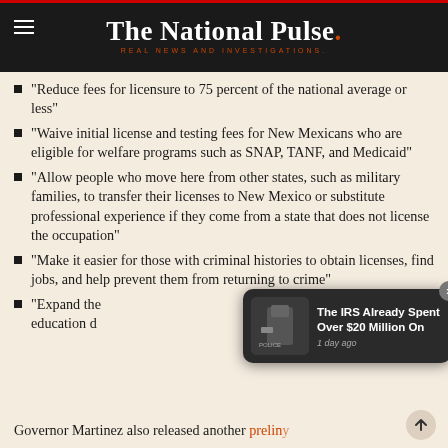The National Pulse. REAL NEWS AND INVESTIGATIONS.
“Reduce fees for licensure to 75 percent of the national average or less”
“Waive initial license and testing fees for New Mexicans who are eligible for welfare programs such as SNAP, TANF, and Medicaid”
“Allow people who move here from other states, such as military families, to transfer their licenses to New Mexico or substitute professional experience if they come from a state that does not license the occupation”
“Make it easier for those with criminal histories to obtain licenses, find jobs, and help prevent them from returning to crime”
“Expand the education d…”
[Figure (screenshot): Popup notification showing a police officer image with text: 'The IRS Already Spent Over $20 Million On' and '1 day ago', with an X close button]
Governor Martinez also released another prelin…y